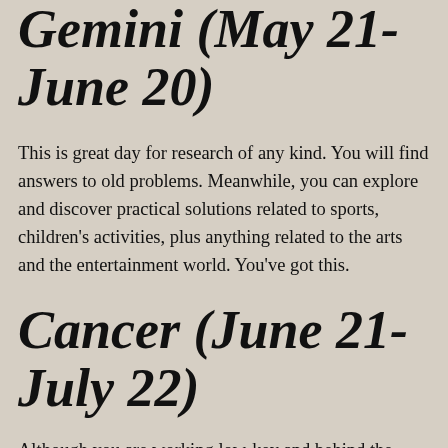Gemini (May 21-June 20)
This is great day for research of any kind. You will find answers to old problems. Meanwhile, you can explore and discover practical solutions related to sports, children's activities, plus anything related to the arts and the entertainment world. You've got this.
Cancer (June 21-July 22)
Although you are working low-key and behind the scenes, nevertheless, a discussion with someone younger or person in a group will be powerful. This could promote you into a leadership role because people will listen to you